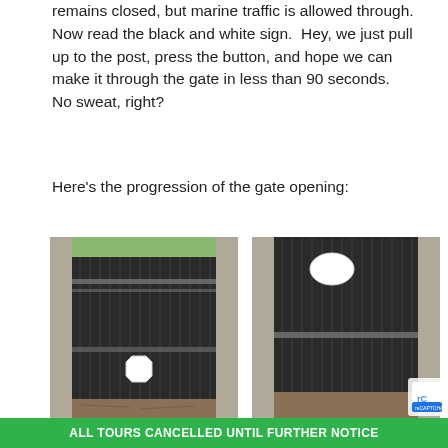remains closed, but marine traffic is allowed through.  Now read the black and white sign.  Hey, we just pull up to the post, press the button, and hope we can make it through the gate in less than 90 seconds.  No sweat, right?
Here's the progression of the gate opening:
[Figure (photo): Canal lock gate partially raised, viewed from water level, showing dark corrugated metal gate with white octagonal sign, flanked by concrete walls, with railing and greenery visible above.]
Going up
[Figure (photo): Canal lock gate fully raised, viewed from water level, showing dark corrugated metal gate elevated high with white oval/circular shape near top, metal crossbar visible, concrete walls on sides.]
Up
ALL TOURS CANCELLED UNTIL FURTHER NOTICE